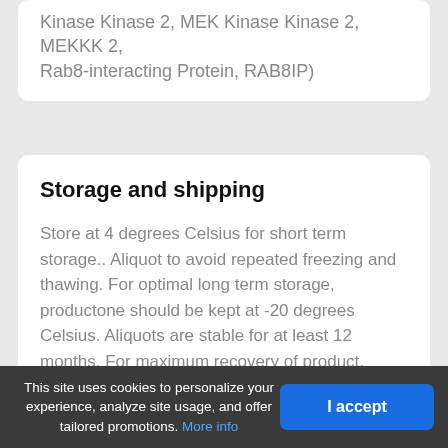Kinase Kinase 2, MEK Kinase Kinase 2, MEKKK 2, Rab8-interacting Protein, RAB8IP)
Storage and shipping
Store at 4 degrees Celsius for short term storage.. Aliquot to avoid repeated freezing and thawing. For optimal long term storage, productone should be kept at -20 degrees Celsius. Aliquots are stable for at least 12 months. For maximum recovery of product, centrifuge the original vial after thawing and prior to removing the cap.
This site uses cookies to personalize your experience, analyze site usage, and offer tailored promotions. More info